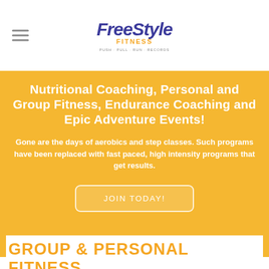Freestyle Fitness logo and navigation
Nutritional Coaching, Personal and Group Fitness, Endurance Coaching and Epic Adventure Events!
Gone are the days of aerobics and step classes. Such programs have been replaced with fast paced, high intensity programs that get results.
JOIN TODAY!
GROUP & PERSONAL FITNESS